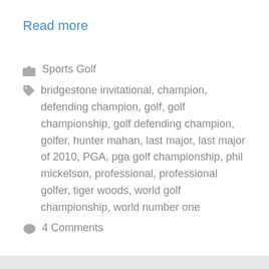Read more
Sports Golf
bridgestone invitational, champion, defending champion, golf, golf championship, golf defending champion, golfer, hunter mahan, last major, last major of 2010, PGA, pga golf championship, phil mickelson, professional, professional golfer, tiger woods, world golf championship, world number one
4 Comments